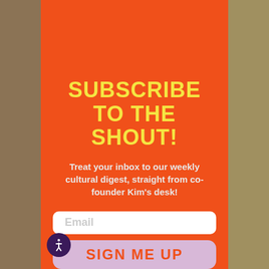Subscribe to the Shout!
Treat your inbox to our weekly cultural digest, straight from co-founder Kim's desk!
[Figure (screenshot): Email input field with placeholder text 'Email']
[Figure (screenshot): Sign me up button with lavender background and orange text 'SIGN ME UP']